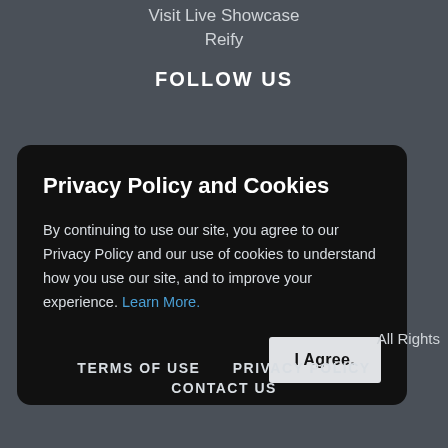Visit Live Showcase
Reify
FOLLOW US
Privacy Policy and Cookies
By continuing to use our site, you agree to our Privacy Policy and our use of cookies to understand how you use our site, and to improve your experience. Learn More.
I Agree.
All Rights
TERMS OF USE   PRIVACY POLICY
CONTACT US